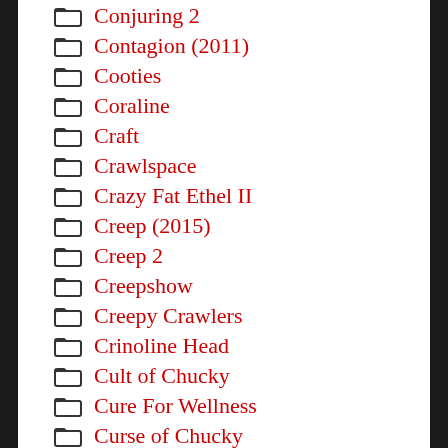Conjuring 2
Contagion (2011)
Cooties
Coraline
Craft
Crawlspace
Crazy Fat Ethel II
Creep (2015)
Creep 2
Creepshow
Creepy Crawlers
Crinoline Head
Cult of Chucky
Cure For Wellness
Curse of Chucky
Curse of La Llorona